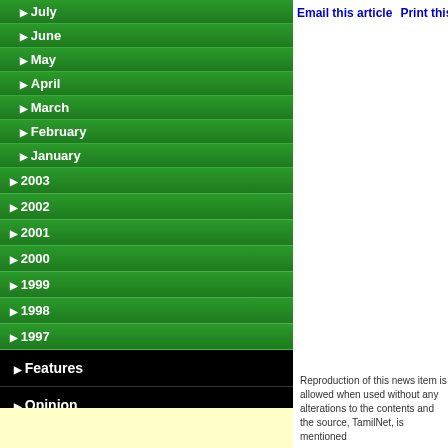▶ July
▶ June
▶ May
▶ April
▶ March
▶ February
▶ January
▶ 2003
▶ 2002
▶ 2001
▶ 2000
▶ 1999
▶ 1998
▶ 1997
▶ Features
▶ Opinion
▶ Palaka'ni
▶ Photo Features
▶ TN Transcription
▶ Web feeds
▶ Feedback
▶ Home
▶ About us
Email this article   Print this article   Feedback on th
Reproduction of this news item is allowed when used without any alterations to the contents and the source, TamilNet, is mentioned